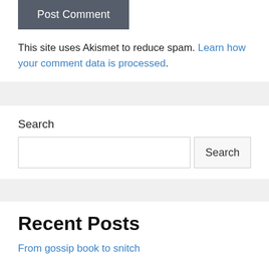Post Comment
This site uses Akismet to reduce spam. Learn how your comment data is processed.
Search
Recent Posts
From gossip book to snitch